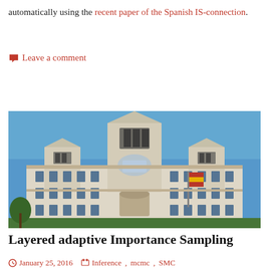automatically using the recent paper of the Spanish IS-connection.
Leave a comment
[Figure (photo): Photograph of a grand ornate white building (Palacio de Cibeles, Madrid) with a blue sky background and Spanish flags visible]
Layered adaptive Importance Sampling
January 25, 2016  Inference, mcmc, SMC